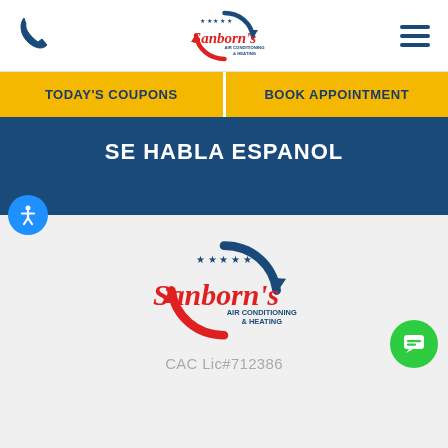[Figure (logo): Sanborn's Air Conditioning & Heating logo in header with phone icon and hamburger menu]
TODAY'S COUPONS
BOOK APPOINTMENT
SE HABLA ESPANOL
[Figure (logo): Sanborn's Air Conditioning & Heating logo centered in body]
CAC Lic#712386